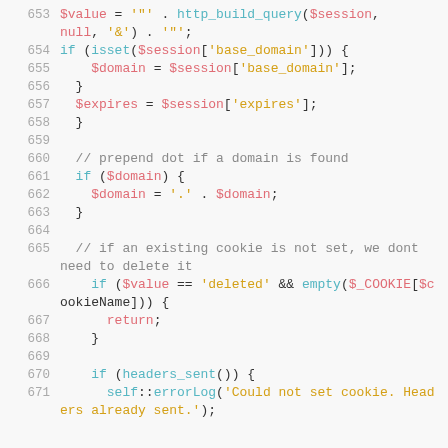Code listing lines 653-671, PHP source code showing cookie handling logic